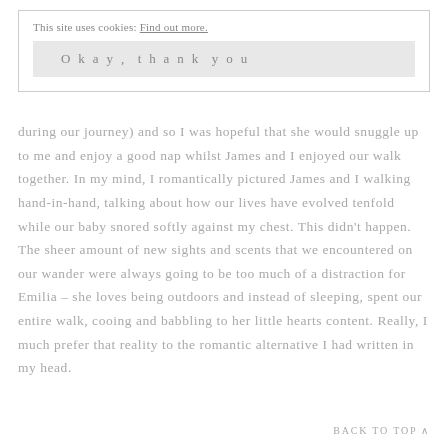This site uses cookies: Find out more.
Okay, thank you
during our journey) and so I was hopeful that she would snuggle up to me and enjoy a good nap whilst James and I enjoyed our walk together. In my mind, I romantically pictured James and I walking hand-in-hand, talking about how our lives have evolved tenfold while our baby snored softly against my chest. This didn't happen. The sheer amount of new sights and scents that we encountered on our wander were always going to be too much of a distraction for Emilia – she loves being outdoors and instead of sleeping, spent our entire walk, cooing and babbling to her little hearts content. Really, I much prefer that reality to the romantic alternative I had written in my head.
BACK TO TOP ^